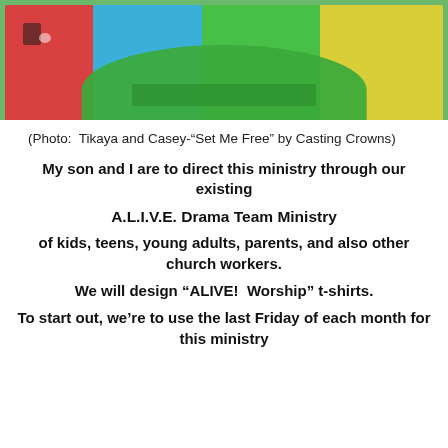[Figure (photo): Person in a green t-shirt doing a low position on colorful foam mats (red, blue, green, yellow)]
(Photo:  Tikaya and Casey-“Set Me Free” by Casting Crowns)
My son and I are to direct this ministry through our existing
A.L.I.V.E. Drama Team Ministry
of kids, teens, young adults, parents, and also other church workers.
We will design “ALIVE!  Worship” t-shirts.
To start out, we’re to use the last Friday of each month for this ministry